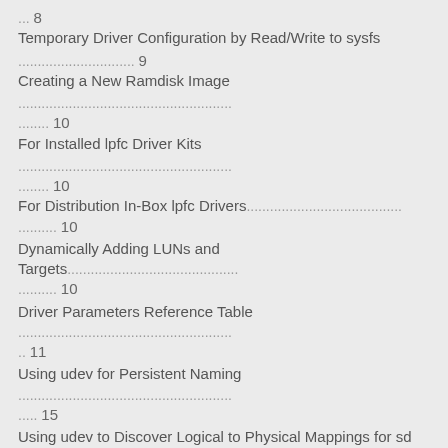... 8 Temporary Driver Configuration by Read/Write to sysfs
.............................. 9 Creating a New Ramdisk Image
........................................................ ........ 10 For Installed lpfc Driver Kits
........................................................ ........ 10 For Distribution In-Box lpfc Drivers............................................ .......... 10
Dynamically Adding LUNs and Targets............................................... .......... 10
Driver Parameters Reference Table ........................................................ .. 11
Using udev for Persistent Naming ........................................................ ..... 15
Using udev to Discover Logical to Physical Mappings for sd Devices ........ 15
Configuring the System to Boot From SAN Using Persistent Names ......... 15
Using udev with st Devices